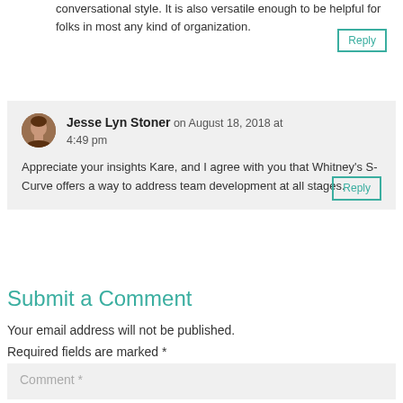conversational style. It is also versatile enough to be helpful for folks in most any kind of organization.
Reply
Jesse Lyn Stoner on August 18, 2018 at 4:49 pm
Appreciate your insights Kare, and I agree with you that Whitney's S-Curve offers a way to address team development at all stages.
Reply
Submit a Comment
Your email address will not be published. Required fields are marked *
Comment *